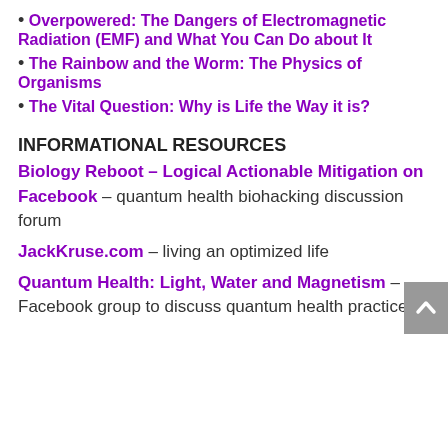• Overpowered: The Dangers of Electromagnetic Radiation (EMF) and What You Can Do about It
• The Rainbow and the Worm: The Physics of Organisms
• The Vital Question: Why is Life the Way it is?
INFORMATIONAL RESOURCES
Biology Reboot – Logical Actionable Mitigation on Facebook – quantum health biohacking discussion forum
JackKruse.com – living an optimized life
Quantum Health: Light, Water and Magnetism – Facebook group to discuss quantum health practices